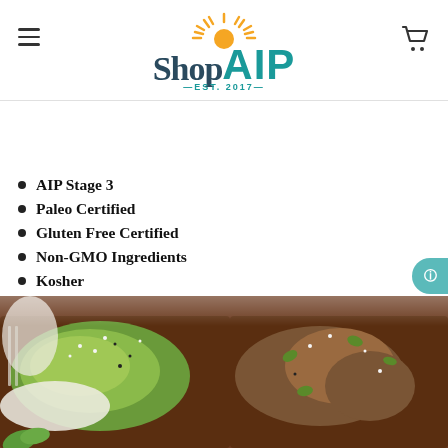[Figure (logo): ShopAIP logo with sun graphic above text, teal and dark blue colors, EST. 2017]
[Figure (screenshot): Search bar with placeholder text 'What are you looking for?' and orange search button]
AIP Stage 3
Paleo Certified
Gluten Free Certified
Non-GMO Ingredients
Kosher
[Figure (photo): Food photo showing open-faced toast/bread topped with avocado, seeds, blueberries, and other toppings]